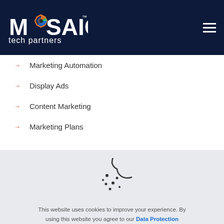Mosaic Tech Partners
Marketing Automation
Display Ads
Content Marketing
Marketing Plans
[Figure (illustration): Cookie icon — a circular cookie with a bite taken out of the upper right, with small dots/chips scattered inside]
This website uses cookies to improve your experience. By using this website you agree to our Data Protection Policy.
Learn more
Accept all